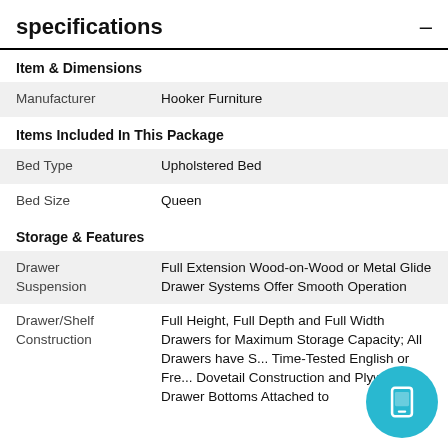specifications
Item & Dimensions
|  |  |
| --- | --- |
| Manufacturer | Hooker Furniture |
Items Included In This Package
|  |  |
| --- | --- |
| Bed Type | Upholstered Bed |
| Bed Size | Queen |
Storage & Features
|  |  |
| --- | --- |
| Drawer Suspension | Full Extension Wood-on-Wood or Metal Glide Drawer Systems Offer Smooth Operation |
| Drawer/Shelf Construction | Full Height, Full Depth and Full Width Drawers for Maximum Storage Capacity; All Drawers have S... Time-Tested English or Fre... Dovetail Construction and Plywood Drawer Bottoms Attached to |